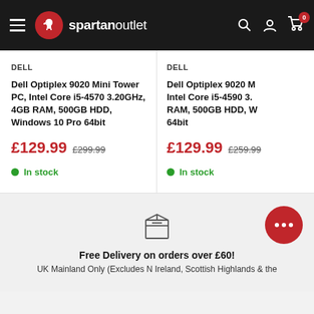spartan outlet
DELL
Dell Optiplex 9020 Mini Tower PC, Intel Core i5-4570 3.20GHz, 4GB RAM, 500GB HDD, Windows 10 Pro 64bit
£129.99  £299.99
In stock
DELL
Dell Optiplex 9020 M... Intel Core i5-4590 3... RAM, 500GB HDD, W... 64bit
£129.99  £259.99
In stock
Free Delivery on orders over £60!
UK Mainland Only (Excludes N Ireland, Scottish Highlands & the...